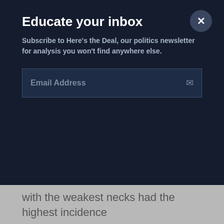Educate your inbox
Subscribe to Here's the Deal, our politics newsletter for analysis you won't find anywhere else.
Email Address
with the weakest necks had the highest incidence
WILLIAM BRANGHAM: What about helmets? What about the soccer helmets? Do those offer any protection?
DR. ROBERT CANTU: Soccer helmets offer protection from scalp lacerations and scalp hematomas. They don't offer protection from concussion. Unfortunately, even football